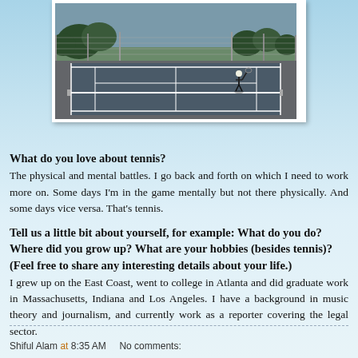[Figure (photo): A person playing tennis on an outdoor hard court with a chain-link fence and trees in the background.]
What do you love about tennis?
The physical and mental battles. I go back and forth on which I need to work more on. Some days I'm in the game mentally but not there physically. And some days vice versa. That's tennis.
Tell us a little bit about yourself, for example: What do you do? Where did you grow up? What are your hobbies (besides tennis)? (Feel free to share any interesting details about your life.)
I grew up on the East Coast, went to college in Atlanta and did graduate work in Massachusetts, Indiana and Los Angeles. I have a background in music theory and journalism, and currently work as a reporter covering the legal sector.
Shiful Alam at 8:35 AM    No comments: